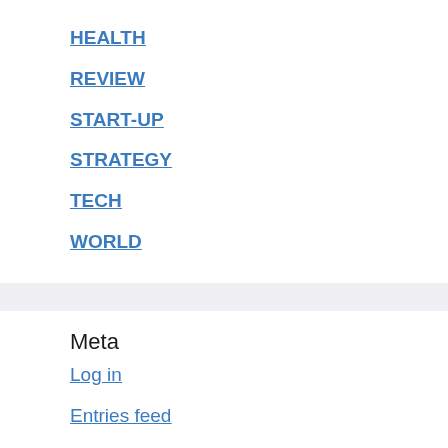HEALTH
REVIEW
START-UP
STRATEGY
TECH
WORLD
Meta
Log in
Entries feed
Comments feed